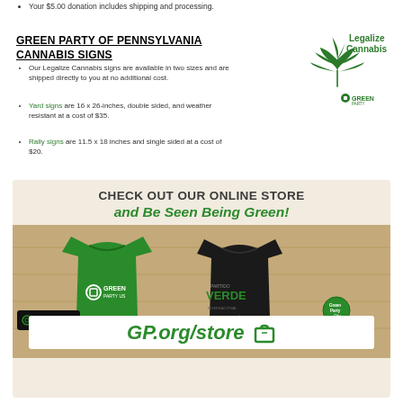Your $5.00 donation includes shipping and processing.
GREEN PARTY OF PENNSYLVANIA CANNABIS SIGNS
Our Legalize Cannabis signs are available in two sizes and are shipped directly to you at no additional cost.
Yard signs are 16 x 26-inches, double sided, and weather resistant at a cost of $35.
Rally signs are 11.5 x 18 inches and single sided at a cost of $20.
[Figure (illustration): Green cannabis leaf with 'Legalize Cannabis' text and Green Party Pennsylvania logo]
[Figure (photo): Online store advertisement showing green and black t-shirts with Green Party and Partido Verde logos, stickers, and buttons on a wood surface. Text reads 'CHECK OUT OUR ONLINE STORE and Be Seen Being Green!' with GP.org/store URL and shopping bag icon.]